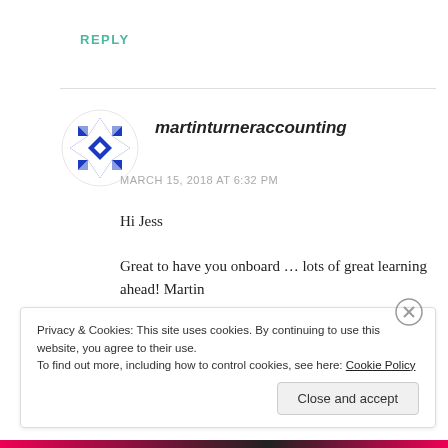REPLY
[Figure (logo): Blue geometric snowflake/quilt pattern logo for martinturneraccounting]
martinturneraccounting
MARCH 15, 2018 AT 6:32 PM
Hi Jess
Great to have you onboard … lots of great learning ahead! Martin
Privacy & Cookies: This site uses cookies. By continuing to use this website, you agree to their use.
To find out more, including how to control cookies, see here: Cookie Policy
Close and accept